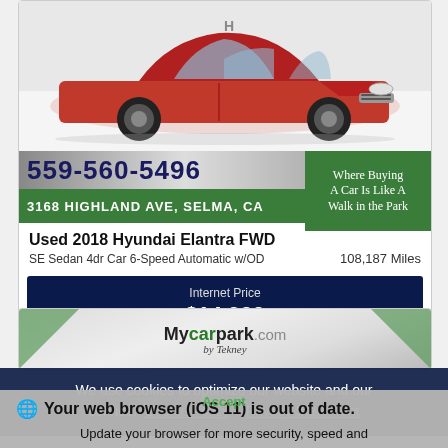[Figure (photo): Red Hyundai Elantra car photo from front/side angle]
559-560-5496
Where Buying A Car Is Like A Walk in the Park
3168 HIGHLAND AVE, SELMA, CA
Used 2018 Hyundai Elantra FWD
SE Sedan 4dr Car 6-Speed Automatic w/OD
108,187 Miles
Internet Price
$14,900
[Figure (logo): Mycarpark.com by Tekney logo banner with silver/metallic background and green triangles]
We use cookies to optimize our website and our service.  Cookie Policy -  Privacy Statement
Your web browser (iOS 11) is out of date. Update your browser for more security, speed and the best experience on this site.